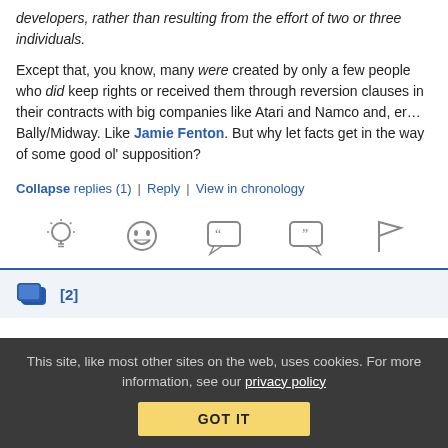developers, rather than resulting from the effort of two or three individuals.

Except that, you know, many were created by only a few people who did keep rights or received them through reversion clauses in their contracts with big companies like Atari and Namco and, er… Bally/Midway. Like Jamie Fenton. But why let facts get in the way of some good ol' supposition?
Collapse replies (1) | Reply | View in chronology
[Figure (infographic): Row of 5 reaction/action icons: lightbulb, laughing face, open-quote speech bubble, close-quote speech bubble, flag]
[2] (reply count indicator with stacked chat icon)
This site, like most other sites on the web, uses cookies. For more information, see our privacy policy
GOT IT